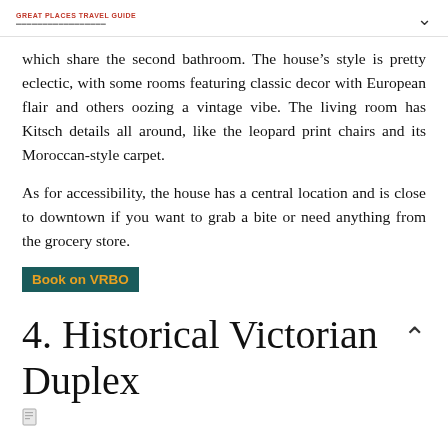GREAT PLACES TRAVEL GUIDE
which share the second bathroom. The house's style is pretty eclectic, with some rooms featuring classic decor with European flair and others oozing a vintage vibe. The living room has Kitsch details all around, like the leopard print chairs and its Moroccan-style carpet.
As for accessibility, the house has a central location and is close to downtown if you want to grab a bite or need anything from the grocery store.
Book on VRBO
4. Historical Victorian Duplex